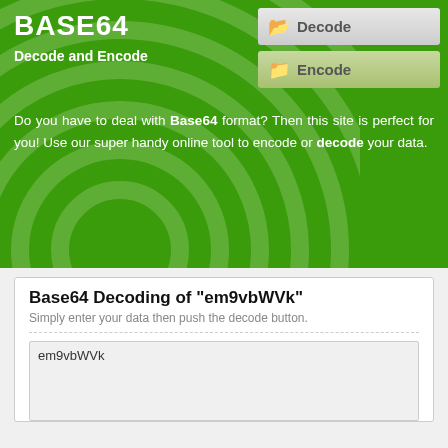BASE64
Decode and Encode
Decode
Encode
Do you have to deal with Base64 format? Then this site is perfect for you! Use our super handy online tool to encode or decode your data.
Base64 Decoding of "em9vbWVk"
Simply enter your data then push the decode button.
em9vbWVk